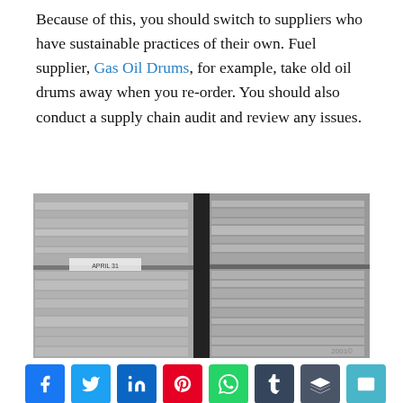Because of this, you should switch to suppliers who have sustainable practices of their own. Fuel supplier, Gas Oil Drums, for example, take old oil drums away when you re-order. You should also conduct a supply chain audit and review any issues.
[Figure (photo): Black and white photograph of large stacks of paper files and documents piled high in two columns]